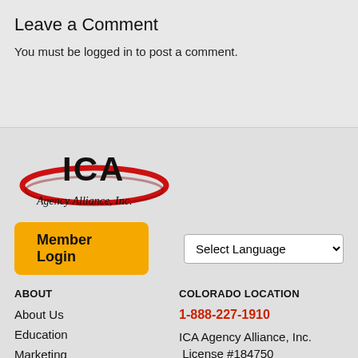Leave a Comment
You must be logged in to post a comment.
[Figure (logo): ICA Agency Alliance, Inc. logo with red oval swoosh and black bold ICA lettering]
Member Login
Select Language
ABOUT
COLORADO LOCATION
About Us
1-888-227-1910
Education
ICA Agency Alliance, Inc. License #184750
Marketing